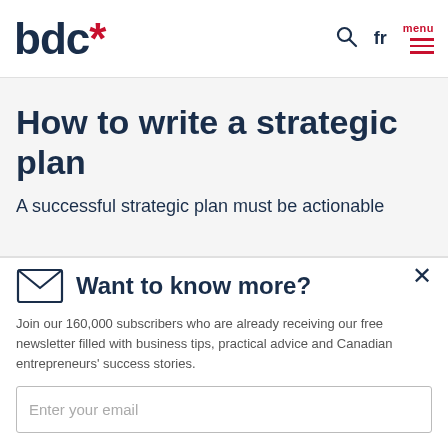bdc* — navigation header with search, fr, and menu
How to write a strategic plan
A successful strategic plan must be actionable
Want to know more?
Join our 160,000 subscribers who are already receiving our free newsletter filled with business tips, practical advice and Canadian entrepreneurs' success stories.
Enter your email